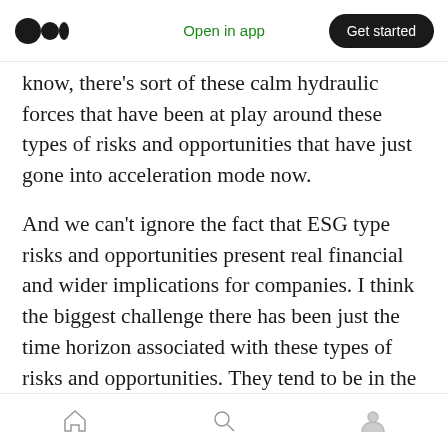Open in app | Get started
know, there's sort of these calm hydraulic forces that have been at play around these types of risks and opportunities that have just gone into acceleration mode now.
And we can't ignore the fact that ESG type risks and opportunities present real financial and wider implications for companies. I think the biggest challenge there has been just the time horizon associated with these types of risks and opportunities. They tend to be in the longer term horizon in terms of playing out and impacting a company. But what we see now is that obviously
Home | Search | Profile